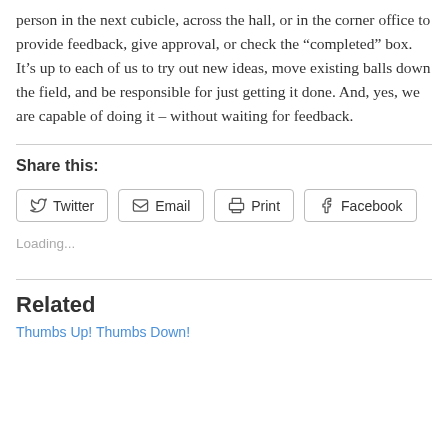person in the next cubicle, across the hall, or in the corner office to provide feedback, give approval, or check the “completed” box. It’s up to each of us to try out new ideas, move existing balls down the field, and be responsible for just getting it done. And, yes, we are capable of doing it – without waiting for feedback.
Share this:
[Figure (screenshot): Social sharing buttons for Twitter, Email, Print, and Facebook]
Loading...
Related
Thumbs Up! Thumbs Down!